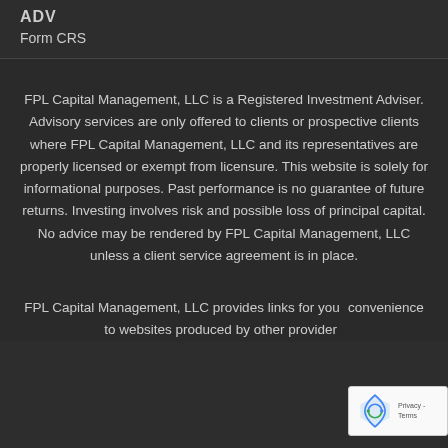ADV
Form CRS
FPL Capital Management, LLC is a Registered Investment Adviser. Advisory services are only offered to clients or prospective clients where FPL Capital Management, LLC and its representatives are properly licensed or exempt from licensure. This website is solely for informational purposes. Past performance is no guarantee of future returns. Investing involves risk and possible loss of principal capital. No advice may be rendered by FPL Capital Management, LLC unless a client service agreement is in place.
FPL Capital Management, LLC provides links for your convenience to websites produced by other providers...